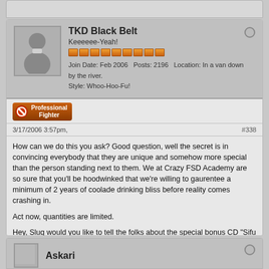TKD Black Belt
Keeeeee-Yeah!
Join Date: Feb 2006    Posts: 2196    Location: In a van down by the river.    Style: Whoo-Hoo-Fu!
[Figure (infographic): Professional Fighter badge with red no-symbol icon]
3/17/2006 3:57pm,
#338
How can we do this you ask? Good question, well the secret is in convincing everybody that they are unique and somehow more special than the person standing next to them. We at Crazy FSD Academy are so sure that you'll be hoodwinked that we're willing to gaurentee a minimum of 2 years of coolade drinking bliss before reality comes crashing in.

Act now, quantities are limited.

Hey, Slug would you like to tell the folks about the special bonus CD "Sifu Sings Songs of Love"?

TKD
Askari